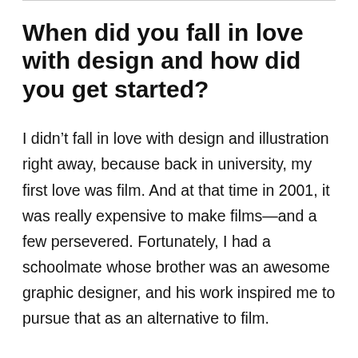When did you fall in love with design and how did you get started?
I didn't fall in love with design and illustration right away, because back in university, my first love was film. And at that time in 2001, it was really expensive to make films—and a few persevered. Fortunately, I had a schoolmate whose brother was an awesome graphic designer, and his work inspired me to pursue that as an alternative to film.